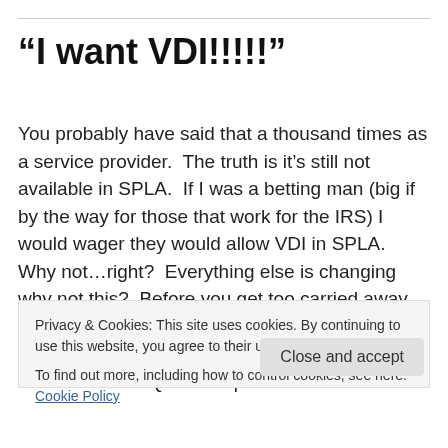“I want VDI!!!!!”
You probably have said that a thousand times as a service provider.  The truth is it’s still not available in SPLA.  If I was a betting man (big if by the way for those that work for the IRS) I would wager they would allow VDI in SPLA.  Why not…right?  Everything else is changing why not this?  Before you get too carried away as to why Microsoft will not allow VDI in shared environments, let me ask…do you REALLY want VDI?  Just as SQL is complex in SPLA
Privacy & Cookies: This site uses cookies. By continuing to use this website, you agree to their use.
To find out more, including how to control cookies, see here: Cookie Policy
Close and accept